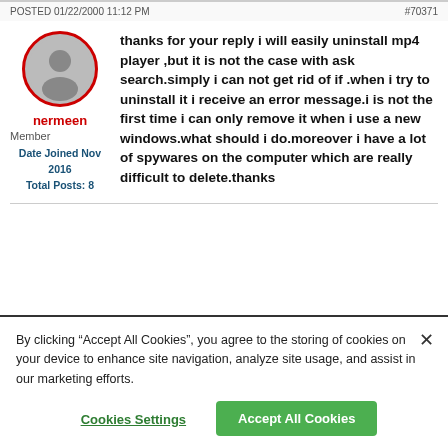POSTED 01/22/2000 11:12 PM   #70371
[Figure (illustration): User avatar: silhouette of a person in a circle with red border]
nermeen
Member
Date Joined Nov 2016
Total Posts: 8
thanks for your reply i will easily uninstall mp4 player ,but it is not the case with ask search.simply i can not get rid of if .when i try to uninstall it i receive an error message.i is not the first time i can only remove it when i use a new windows.what should i do.moreover i have a lot of spywares on the computer which are really difficult to delete.thanks
By clicking “Accept All Cookies”, you agree to the storing of cookies on your device to enhance site navigation, analyze site usage, and assist in our marketing efforts.
Cookies Settings
Accept All Cookies